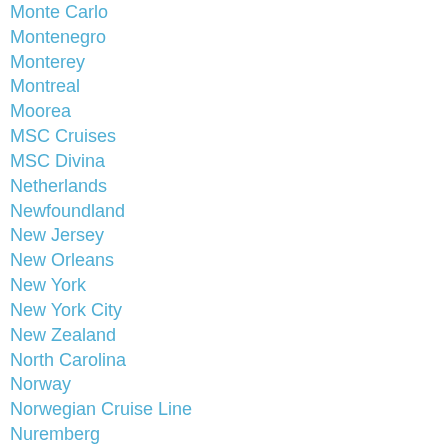Monte Carlo
Montenegro
Monterey
Montreal
Moorea
MSC Cruises
MSC Divina
Netherlands
Newfoundland
New Jersey
New Orleans
New York
New York City
New Zealand
North Carolina
Norway
Norwegian Cruise Line
Nuremberg
Oceania Cruises
Oregon
Orlando